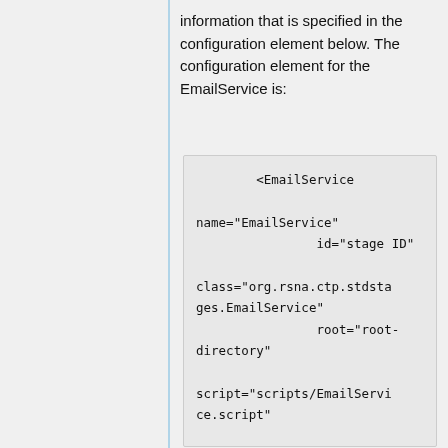information that is specified in the configuration element below. The configuration element for the EmailService is:
<EmailService
    name="EmailService"
                id="stage ID"

    class="org.rsna.ctp.stdstages.EmailService"
                root="root-directory"

    script="scripts/EmailService.script"

    smtpServer="SMTP server URL"
                username=""
                password=""
                to=""